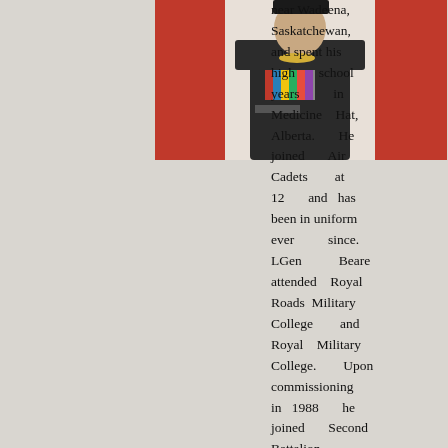[Figure (photo): Military officer in dark uniform with medals and wings insignia, standing in front of a Canadian flag background]
near Wadeena, Saskatchewan, and spent his high school years in Medicine Hat, Alberta. He joined Air Cadets at age 12 and has been in uniform ever since. LGen Beare attended Royal Roads Military College and Royal Military College. Upon commissioning in 1988 he joined Second Battalion,